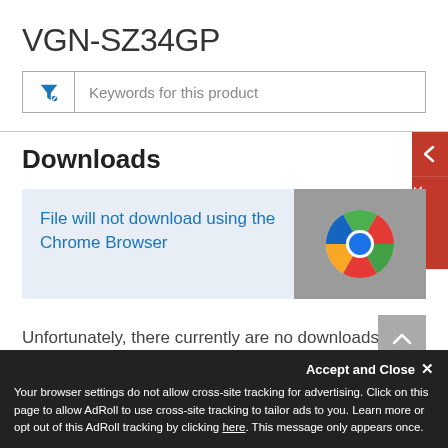VGN-SZ34GP
[Figure (screenshot): Search/filter input box with blue funnel icon and placeholder text 'Keywords for this product']
Downloads
[Figure (screenshot): Light blue banner with link text 'File will not download using the Chrome Browser' and Chrome browser logo on grey background on the right]
Unfortunately, there currently are no downloads for this product.
Accept and Close ✕
Your browser settings do not allow cross-site tracking for advertising. Click on this page to allow AdRoll to use cross-site tracking to tailor ads to you. Learn more or opt out of this AdRoll tracking by clicking here. This message only appears once.